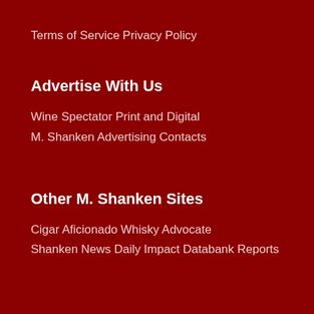Terms of Service
Privacy Policy
Advertise With Us
Wine Spectator Print and Digital
M. Shanken Advertising Contacts
Other M. Shanken Sites
Cigar Aficionado
Whisky Advocate
Shanken News Daily
Impact Databank Reports